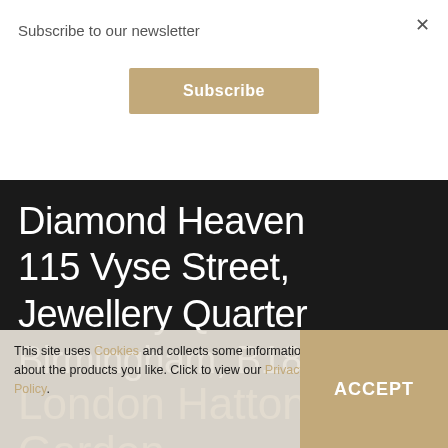Subscribe to our newsletter
Subscribe
Diamond Heaven
115 Vyse Street,
Jewellery Quarter
Birmingham, B18 6LP
London Hatton Garden
This site uses Cookies and collects some information about the products you like. Click to view our Privacy Policy.
ACCEPT